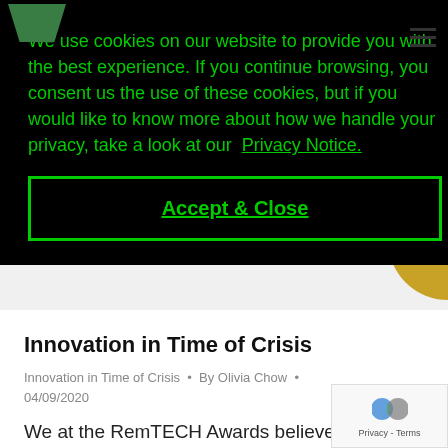[Figure (other): Green logo shape at top left of page header]
We use cookies on our website to provide you with the best experience. If you continue browsing, you consent us the use of these cookies, but if you would like to know more about how we handle your privacy, take a look at our Privacy Notice.
Accept & Close
Innovation in Time of Crisis
Innovation in Time of Crisis • By Olivia Chow • 04/09/2020
We at the RemTECH Awards believe to get through the continuing uncertain future,